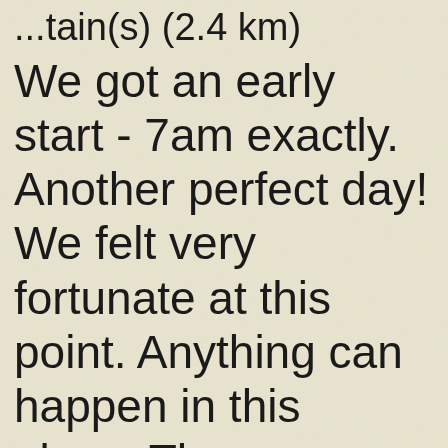...tain(s) (2.4 km)
We got an early start - 7am exactly. Another perfect day! We felt very fortunate at this point. Anything can happen in this place. There were supposed to be two hard climbs in the day, but it all seemed quite